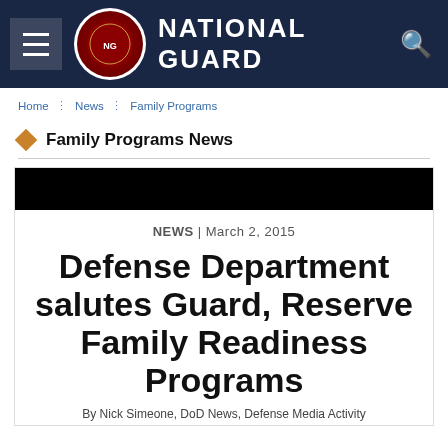National Guard
Home > News > Family Programs
Family Programs News
[Figure (photo): Black banner/header image at top of article card]
NEWS | March 2, 2015
Defense Department salutes Guard, Reserve Family Readiness Programs
By Nick Simeone, DoD News, Defense Media Activity